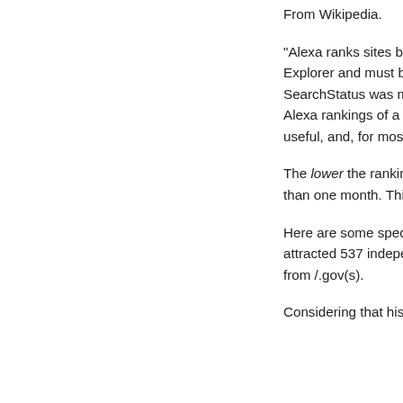From Wikipedia.
"Alexa ranks sites based on w Alexa Toolbar which is only a Explorer and must be manua party extension for Mozilla Fi SearchStatus was made avai allows users of this browser t Alexa rankings of a visited si affect Alexa rankings.... Alexa useful, and, for most websites source of information about w
The lower the ranking, the be YBYL has jumped from 2,646 than one month. This is a phe a short period of time.
Here are some specifics from post devoted to the wisdom o attracted 537 independent vis and 32% of the visitors are fr from /.gov(s).
Considering that his own site continue to stagnate arou